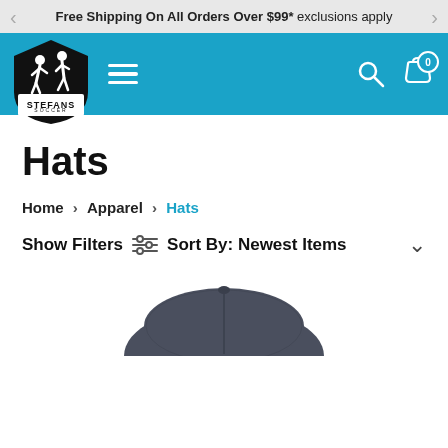Free Shipping On All Orders Over $99* exclusions apply
[Figure (logo): Stefans Soccer logo — black shield shape with two soccer player silhouettes and 'STEFANS SOCCER' text]
Hats
Home > Apparel > Hats
Show Filters  Sort By: Newest Items
[Figure (photo): Top portion of a dark navy/charcoal baseball cap visible at the bottom of the page]